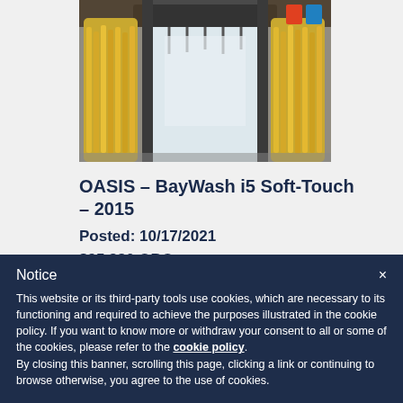[Figure (photo): Car wash bay interior showing large yellow brushes/mops on either side of a tunnel car wash entrance, with equipment visible overhead]
OASIS - BayWash i5 Soft-Touch - 2015
Posted: 10/17/2021
$95,880 OBO
Product # 3368
Notice
This website or its third-party tools use cookies, which are necessary to its functioning and required to achieve the purposes illustrated in the cookie policy. If you want to know more or withdraw your consent to all or some of the cookies, please refer to the cookie policy.
By closing this banner, scrolling this page, clicking a link or continuing to browse otherwise, you agree to the use of cookies.